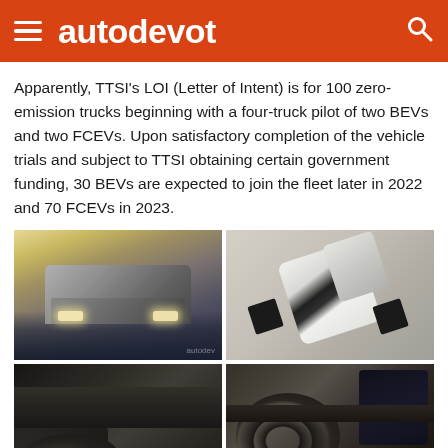autodevot
Apparently, TTSI's LOI (Letter of Intent) is for 100 zero-emission trucks beginning with a four-truck pilot of two BEVs and two FCEVs. Upon satisfactory completion of the vehicle trials and subject to TTSI obtaining certain government funding, 30 BEVs are expected to join the fleet later in 2022 and 70 FCEVs in 2023.
[Figure (photo): Silver semi-truck driving on a highway at dusk, front-facing view]
[Figure (photo): Aerial top-down view of a white truck chassis on a light surface]
[Figure (photo): Interior cabin view of a futuristic truck dashboard, dark tones, Nikola branding]
[Figure (photo): Interior cabin view of a truck with steering wheel and digital screen visible]